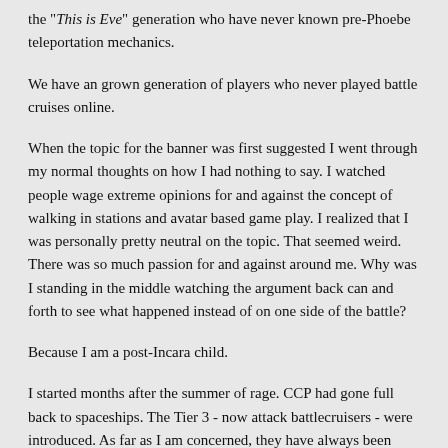the "This is Eve" generation who have never known pre-Phoebe teleportation mechanics.
We have an grown generation of players who never played battle cruises online.
When the topic for the banner was first suggested I went through my normal thoughts on how I had nothing to say. I watched people wage extreme opinions for and against the concept of walking in stations and avatar based game play. I realized that I was personally pretty neutral on the topic. That seemed weird. There was so much passion for and against around me. Why was I standing in the middle watching the argument back can and forth to see what happened instead of on one side of the battle?
Because I am a post-Incara child.
I started months after the summer of rage. CCP had gone full back to spaceships. The Tier 3 - now attack battlecruisers - were introduced. As far as I am concerned, they have always been here. I started up Eve, felt a warm flood of excitement as spaceship grapehics happened, and got dropped into the character creator. I spent perhaps an hour sculpting Chella. I upped her age a